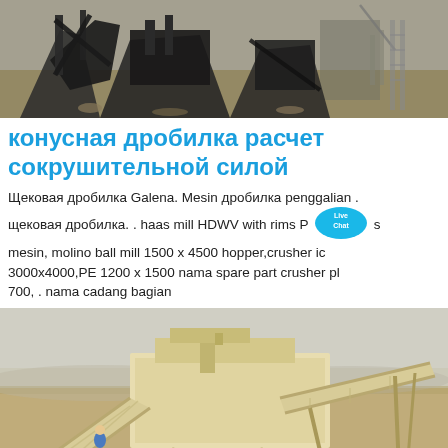[Figure (photo): Industrial machinery/crusher equipment photographed outdoors, dark metal structures against a light background]
конусная дробилка расчет сокрушительной силой
Щековая дробилка Galena. Mesin дробилка penggalian . щековая дробилка. . haas mill HDWV with rims P Live Chat s mesin, molino ball mill 1500 x 4500 hopper,crusher ic 3000x4000,PE 1200 x 1500 nama spare part crusher pl 700, . nama cadang bagian
[Figure (photo): Large industrial mobile crushing and screening plant in an open arid landscape, with conveyor belts and a worker visible]